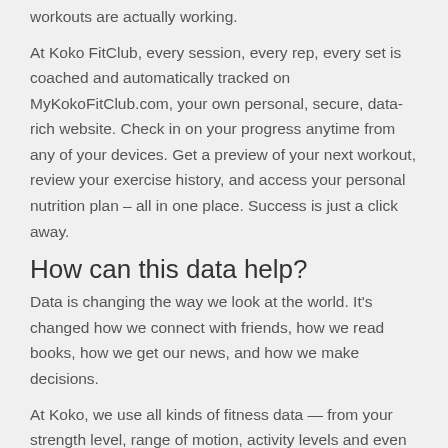workouts are actually working. At Koko FitClub, every session, every rep, every set is coached and automatically tracked on MyKokoFitClub.com, your own personal, secure, data-rich website. Check in on your progress anytime from any of your devices. Get a preview of your next workout, review your exercise history, and access your personal nutrition plan – all in one place. Success is just a click away.
How can this data help?
Data is changing the way we look at the world. It's changed how we connect with friends, how we read books, how we get our news, and how we make decisions.
At Koko, we use all kinds of fitness data — from your strength level, range of motion, activity levels and even body composition — to customize your personal fitness and nutrition plan, and dynamically adapt to your